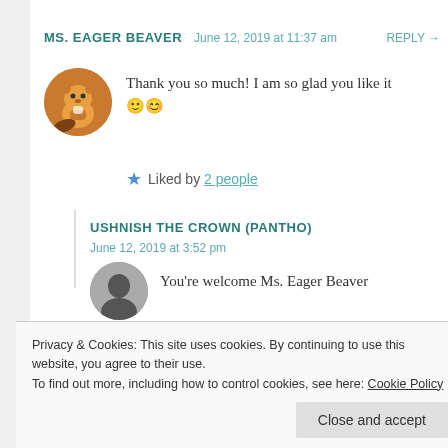MS. EAGER BEAVER   June 12, 2019 at 11:37 am   REPLY →
Thank you so much! I am so glad you like it 🙂😊
★ Liked by 2 people
USHNISH THE CROWN (PANTHO)
June 12, 2019 at 3:52 pm
You're welcome Ms. Eager Beaver
Privacy & Cookies: This site uses cookies. By continuing to use this website, you agree to their use.
To find out more, including how to control cookies, see here: Cookie Policy
Close and accept
MS. EAGER BEAVER